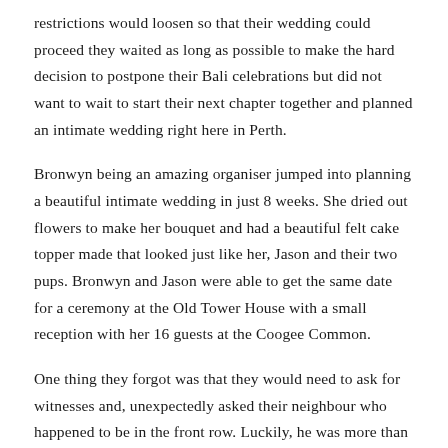restrictions would loosen so that their wedding could proceed they waited as long as possible to make the hard decision to postpone their Bali celebrations but did not want to wait to start their next chapter together and planned an intimate wedding right here in Perth.
Bronwyn being an amazing organiser jumped into planning a beautiful intimate wedding in just 8 weeks. She dried out flowers to make her bouquet and had a beautiful felt cake topper made that looked just like her, Jason and their two pups. Bronwyn and Jason were able to get the same date for a ceremony at the Old Tower House with a small reception with her 16 guests at the Coogee Common.
One thing they forgot was that they would need to ask for witnesses and, unexpectedly asked their neighbour who happened to be in the front row. Luckily, he was more than happy to do it. Jason just started laughing as he saw Bronwyn start walking towards him.